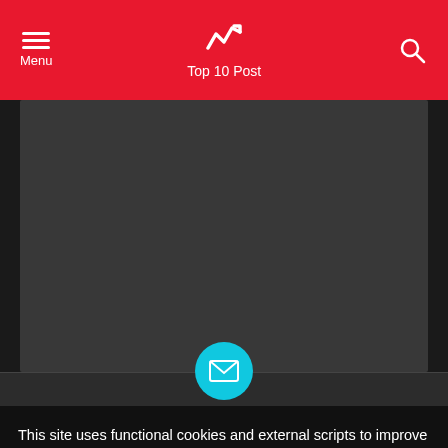Menu | Top 10 Post
[Figure (screenshot): Dark gray placeholder image area for article]
Star Wars Battlefront 2 – CODEX & COREPACK
[Figure (illustration): Cyan circular email icon]
This site uses functional cookies and external scripts to improve your experience.
MORE INFORMATION
Your email address